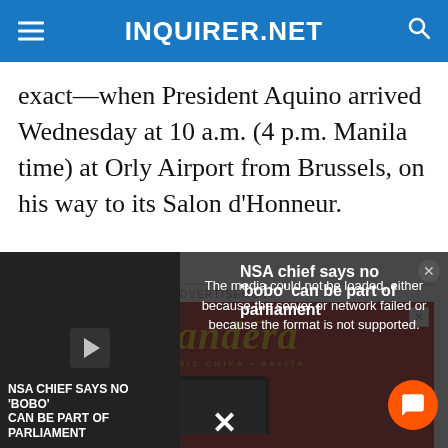INQUIRER.NET
exact—when President Aquino arrived Wednesday at 10 a.m. (4 p.m. Manila time) at Orly Airport from Brussels, on his way to its Salon d'Honneur.
[Figure (screenshot): Bandera advertisement banner with red background, showing the Bandera logo in yellow italic text with tagline 'SHOWBIZ CHIKA • BALITA', and a smartphone/tablet mockup below.]
[Figure (screenshot): Video player overlay showing error message 'The media could not be loaded, either because the server or network failed or because the format is not supported.' with NSA chief news headline on the right side and a chat button.]